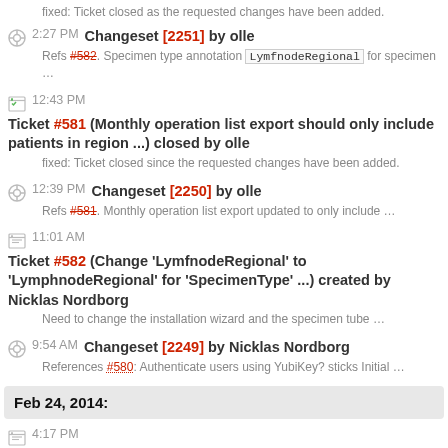fixed: Ticket closed as the requested changes have been added.
2:27 PM Changeset [2251] by olle — Refs #582. Specimen type annotation LymfnodeRegional for specimen ...
12:43 PM Ticket #581 (Monthly operation list export should only include patients in region ...) closed by olle — fixed: Ticket closed since the requested changes have been added.
12:39 PM Changeset [2250] by olle — Refs #581. Monthly operation list export updated to only include ...
11:01 AM Ticket #582 (Change 'LymfnodeRegional' to 'LymphnodeRegional' for 'SpecimenType' ...) created by Nicklas Nordborg — Need to change the installation wizard and the specimen tube ...
9:54 AM Changeset [2249] by Nicklas Nordborg — References #580: Authenticate users using YubiKey? sticks Initial ...
Feb 24, 2014:
4:17 PM Ticket #581 (Monthly operation list export should only include patients in region ...) created by olle — Monthly operation list export should only include patients in region ...
3:31 PM Changeset [2248] by Nicklas Nordborg